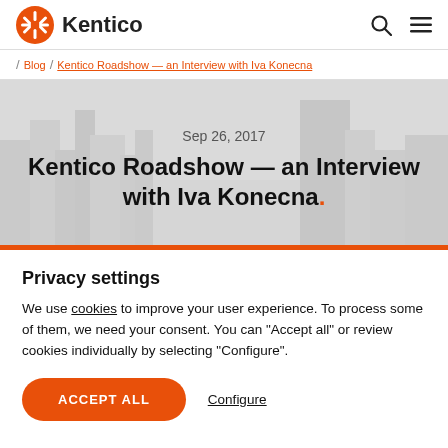Kentico
Blog / Kentico Roadshow — an Interview with Iva Konecna
Sep 26, 2017
Kentico Roadshow — an Interview with Iva Konecna.
Privacy settings
We use cookies to improve your user experience. To process some of them, we need your consent. You can "Accept all" or review cookies individually by selecting "Configure".
ACCEPT ALL   Configure